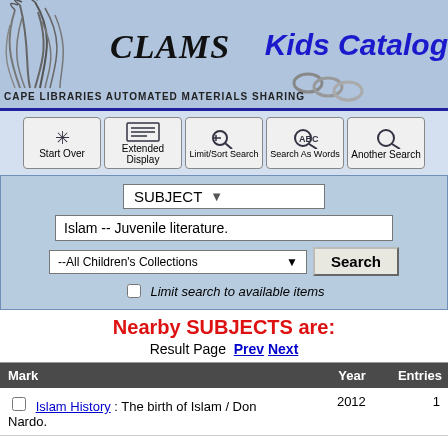CLAMS Kids Catalog - CAPE LIBRARIES AUTOMATED MATERIALS SHARING
[Figure (screenshot): CLAMS Kids Catalog library website interface with navigation buttons (Start Over, Extended Display, Limit/Sort Search, Search As Words, Another Search), a subject search form with 'Islam -- Juvenile literature.' entered, collection dropdown set to '--All Children's Collections', and a results table showing 'Islam History : The birth of Islam / Don Nardo.' from 2012 with 1 entry.]
Nearby SUBJECTS are:
Result Page  Prev  Next
| Mark | Year | Entries |
| --- | --- | --- |
| Islam History : The birth of Islam / Don Nardo. | 2012 | 1 |